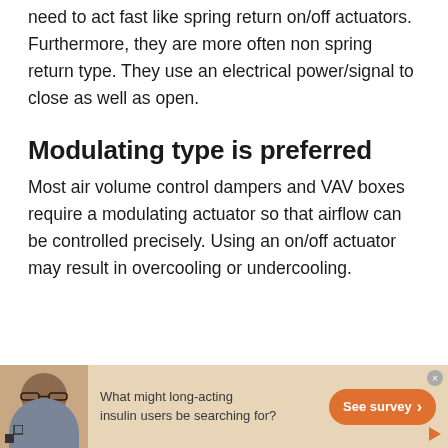need to act fast like spring return on/off actuators. Furthermore, they are more often non spring return type. They use an electrical power/signal to close as well as open.
Modulating type is preferred
Most air volume control dampers and VAV boxes require a modulating actuator so that airflow can be controlled precisely. Using an on/off actuator may result in overcooling or undercooling.
[Figure (infographic): Advertisement banner with a bearded man wearing glasses, text 'What might long-acting insulin users be searching for?' and an orange 'See survey' button on a tan/beige background.]